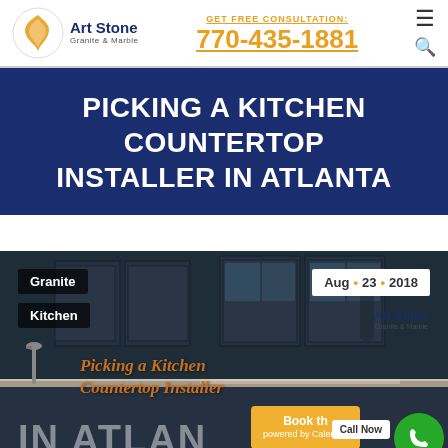GET FREE CONSULTATION: 770-435-1881 | Art Stone Granite & Marble
PICKING A KITCHEN COUNTERTOP INSTALLER IN ATLANTA
[Figure (photo): Kitchen countertop installer blog post hero image showing a dark kitchen with granite/marble countertops, category tags (Granite, Kitchen), date (Aug 23 2018), cursive overlay text 'Picking a Kitchen Countertop Installer', large text 'IN ATLANTA', Book Now / Call Now buttons, and Art Stone Granite & Marble watermark]